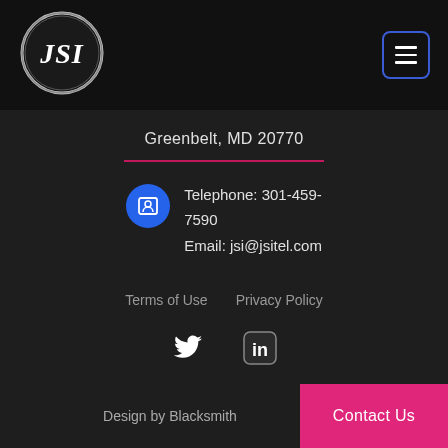[Figure (logo): JSI logo — circular chrome ring with JSI text in italic serif inside]
Greenbelt, MD 20770
Telephone: 301-459-7590
Email: jsi@jsitel.com
Terms of Use
Privacy Policy
[Figure (logo): Twitter bird icon]
[Figure (logo): LinkedIn icon]
Design by Blacksmith
Contact Us